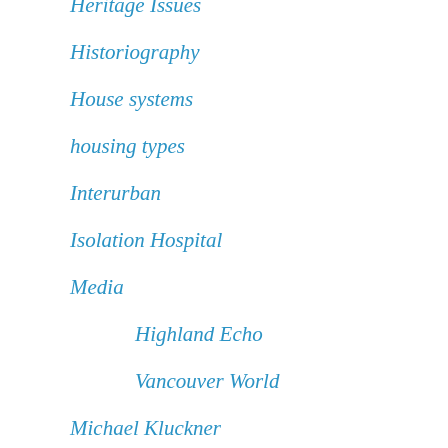Heritage Issues
Historiography
House systems
housing types
Interurban
Isolation Hospital
Media
Highland Echo
Vancouver World
Michael Kluckner
Parks
Property Prices
Research Tips
Retail History